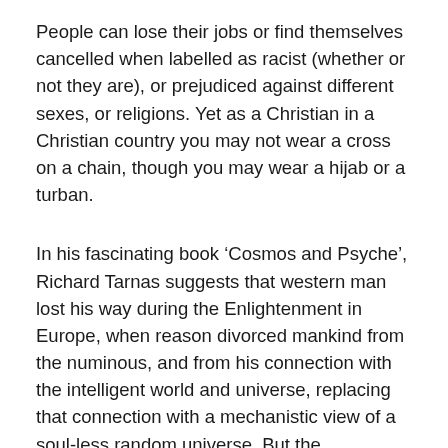People can lose their jobs or find themselves cancelled when labelled as racist (whether or not they are), or prejudiced against different sexes, or religions. Yet as a Christian in a Christian country you may not wear a cross on a chain, though you may wear a hijab or a turban.
In his fascinating book ‘Cosmos and Psyche’, Richard Tarnas suggests that western man lost his way during the Enlightenment in Europe, when reason divorced mankind from the numinous, and from his connection with the intelligent world and universe, replacing that connection with a mechanistic view of a soul-less random universe. But the Enlightenment never reached the many cultures who are now invading Europe, and they are just as cut off from the intelligent universe, and the world around us.